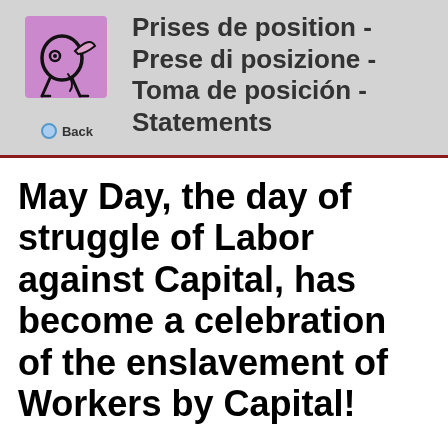[Figure (logo): Small cartoon bird/creature logo on a purple/pink square background]
Prises de position - Prese di posizione - Toma de posición - Statements
Back
May Day, the day of struggle of Labor against Capital, has become a celebration of the enslavement of Workers by Capital!